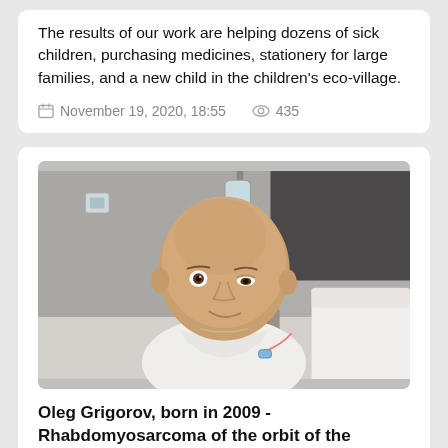The results of our work are helping dozens of sick children, purchasing medicines, stationery for large families, and a new child in the children's eco-village.
November 19, 2020, 18:55   435
[Figure (photo): A bald child (cancer patient) sitting in a hospital bed wearing a white gown, with an IV line attached to their hand, smiling slightly at the camera. Hospital room background with IV stand and medical equipment visible.]
Oleg Grigorov, born in 2009 - Rhabdomyosarcoma of the orbit of the